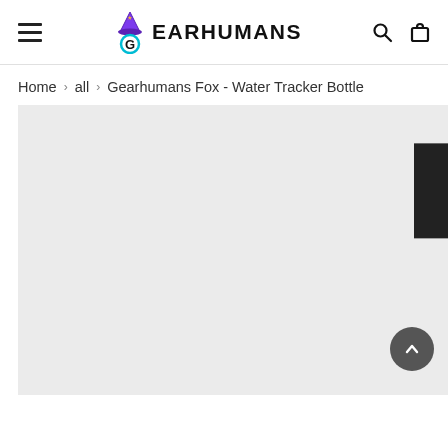GEARHUMANS — site header with hamburger menu, logo, search and cart icons
Home > all > Gearhumans Fox - Water Tracker Bottle
[Figure (screenshot): Product image area with light gray background, a dark '10% Off' vertical badge on the right edge, and a dark circular scroll-to-top arrow button in the lower right.]